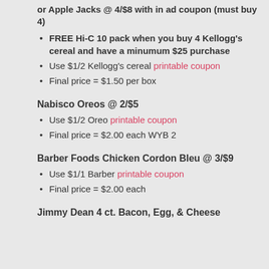or Apple Jacks @ 4/$8 with in ad coupon (must buy 4)
FREE Hi-C 10 pack when you buy 4 Kellogg's cereal and have a minumum $25 purchase
Use $1/2 Kellogg's cereal printable coupon
Final price = $1.50 per box
Nabisco Oreos @ 2/$5
Use $1/2 Oreo printable coupon
Final price = $2.00 each WYB 2
Barber Foods Chicken Cordon Bleu @ 3/$9
Use $1/1 Barber printable coupon
Final price = $2.00 each
Jimmy Dean 4 ct. Bacon, Egg, & Cheese